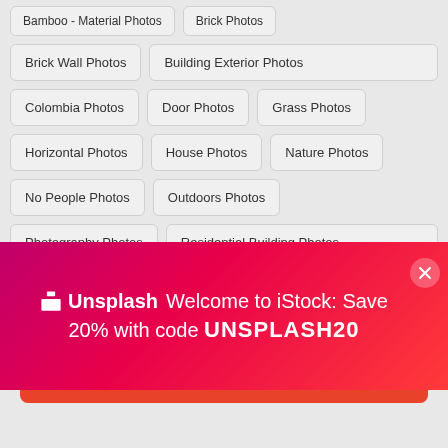Bamboo - Material Photos
Brick Photos
Brick Wall Photos
Building Exterior Photos
Colombia Photos
Door Photos
Grass Photos
Horizontal Photos
House Photos
Nature Photos
No People Photos
Outdoors Photos
Photography Photos
Residential Building Photos
[Figure (infographic): Unsplash promotional banner for iStock: 'Welcome to iStock: Save 20% with code UNSPLASH20']
$12 | 1 credit
Continue with purchase